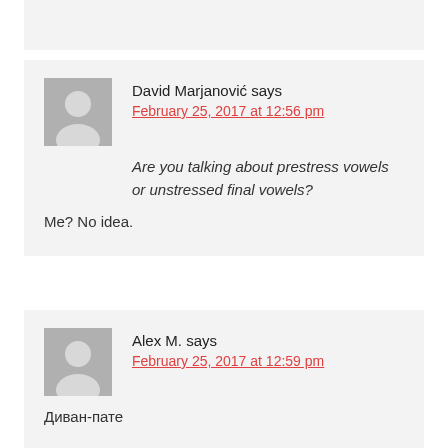David Marjanović says
February 25, 2017 at 12:56 pm
Are you talking about prestress vowels or unstressed final vowels?
Me? No idea.
Alex M. says
February 25, 2017 at 12:59 pm
Диван-пате